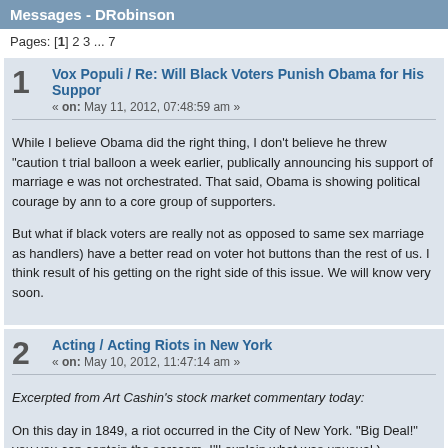Messages - DRobinson
Pages: [1] 2 3 ... 7
1  Vox Populi / Re: Will Black Voters Punish Obama for His Support... « on: May 11, 2012, 07:48:59 am »
While I believe Obama did the right thing, I don't believe he threw "caution t... trial balloon a week earlier, publically announcing his support of marriage e... was not orchestrated. That said, Obama is showing political courage by ann... to a core group of supporters.

But what if black voters are really not as opposed to same sex marriage as... handlers) have a better read on voter hot buttons than the rest of us. I think... result of his getting on the right side of this issue. We will know very soon.
2  Acting / Acting Riots in New York « on: May 10, 2012, 11:47:14 am »
Excerpted from Art Cashin's stock market commentary today:

On this day in 1849, a riot occurred in the City of New York. "Big Deal!" you... you can contain the sarcasm, I'll explain what was unusual.)

Sure New York City has had: draft riots; race riots; religious riots; bank riots...